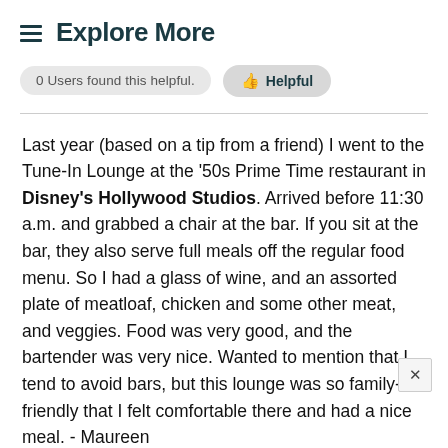≡ Explore More
0 Users found this helpful.
👍 Helpful
Last year (based on a tip from a friend) I went to the Tune-In Lounge at the '50s Prime Time restaurant in Disney's Hollywood Studios. Arrived before 11:30 a.m. and grabbed a chair at the bar. If you sit at the bar, they also serve full meals off the regular food menu. So I had a glass of wine, and an assorted plate of meatloaf, chicken and some other meat, and veggies. Food was very good, and the bartender was very nice. Wanted to mention that I tend to avoid bars, but this lounge was so family-friendly that I felt comfortable there and had a nice meal. - Maureen
Food & Beverage   Hollywood Studios